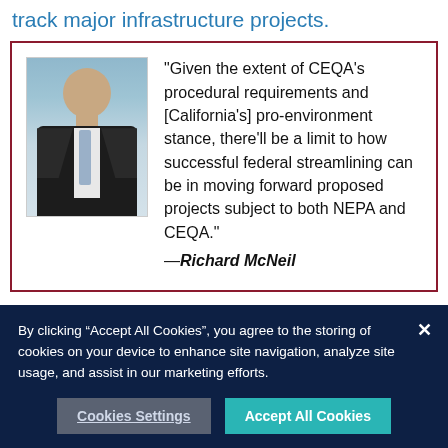track major infrastructure projects.
[Figure (photo): Headshot of Richard McNeil, a man in a dark suit with a light blue tie, photographed against a blurred outdoor background.]
"Given the extent of CEQA's procedural requirements and [California's] pro-environment stance, there'll be a limit to how successful federal streamlining can be in moving forward proposed projects subject to both NEPA and CEQA." —Richard McNeil
By clicking “Accept All Cookies”, you agree to the storing of cookies on your device to enhance site navigation, analyze site usage, and assist in our marketing efforts.
Cookies Settings
Accept All Cookies